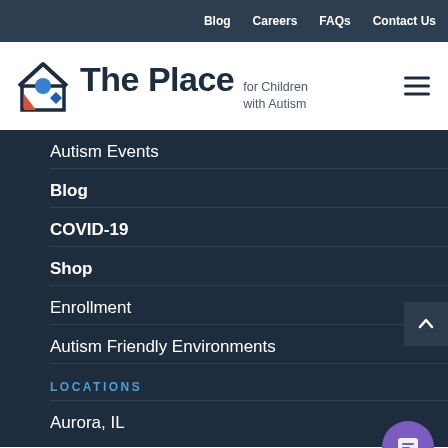Blog  Careers  FAQs  Contact Us
[Figure (logo): The Place for Children with Autism logo with house icon containing blue circle, blue diamond, and red triangle]
Autism Events
Blog
COVID-19
Shop
Enrollment
Autism Friendly Environments
LOCATIONS
Aurora, IL